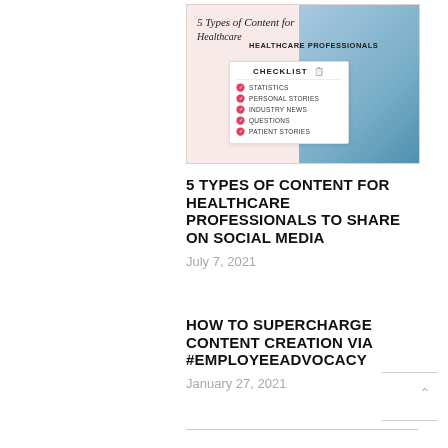[Figure (infographic): Infographic titled '5 Types of Content for Healthcare Professionals' with a checklist showing: Statistics, Personal Stories, Industry News, Questions, Patient Stories. Background shows a healthcare professional in scrubs.]
5 TYPES OF CONTENT FOR HEALTHCARE PROFESSIONALS TO SHARE ON SOCIAL MEDIA
July 7, 2021
HOW TO SUPERCHARGE CONTENT CREATION VIA #EMPLOYEEADVOCACY
January 27, 2021